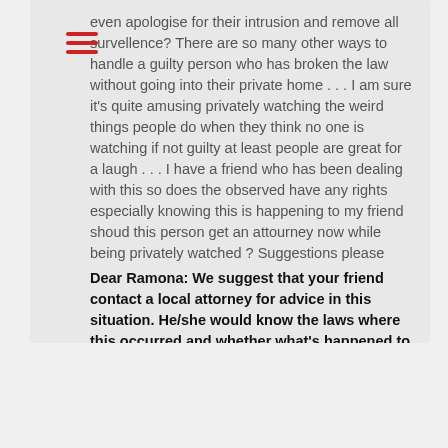even apologise for their intrusion and remove all survellence? There are so many other ways to handle a guilty person who has broken the law without going into their private home . . . I am sure it’s quite amusing privately watching the weird things people do when they think no one is watching if not guilty at least people are great for a laugh . . . I have a friend who has been dealing with this so does the observed have any rights especially knowing this is happening to my friend shoud this person get an attourney now while being privately watched ? Suggestions please
Dear Ramona: We suggest that your friend contact a local attorney for advice in this situation. He/she would know the laws where this occurred and whether what’s happened to your friend constitutes a lawful search or not. Some criminal defense lawyers provide free initial consultations. Good luck. -ATJ.info